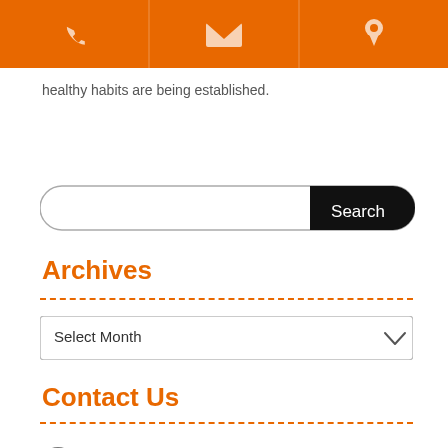[Figure (other): Orange top navigation bar with phone, email, and location icons in white]
healthy habits are being established.
[Figure (other): Search bar with a black Search button on the right]
Archives
[Figure (other): Dropdown select box labeled Select Month]
Contact Us
Our Phone:
979-308-4450
Our Email:
info@angletonfamilydental.com